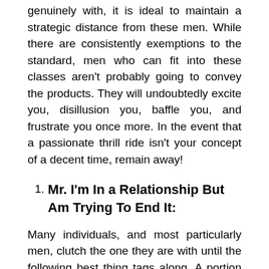genuinely with, it is ideal to maintain a strategic distance from these men. While there are consistently exemptions to the standard, men who can fit into these classes aren't probably going to convey the products. They will undoubtedly excite you, disillusion you, baffle you, and frustrate you once more. In the event that a passionate thrill ride isn't your concept of a decent time, remain away!
1. Mr. I'm In a Relationship But Am Trying To End It:
Many individuals, and most particularly men, clutch the one they are with until the following best thing tags along. A portion of these individuals are